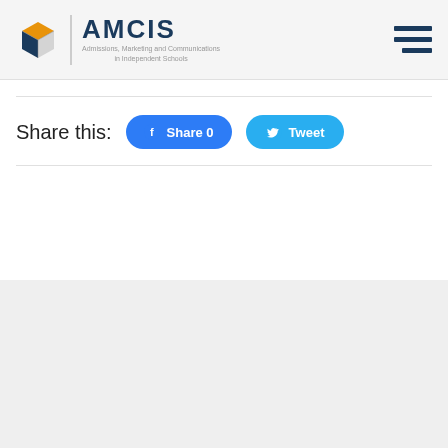[Figure (logo): AMCIS logo with cube icon and text: Admissions, Marketing and Communications in Independent Schools]
Share this:
[Figure (screenshot): Facebook Share button with count 0]
[Figure (screenshot): Twitter Tweet button]